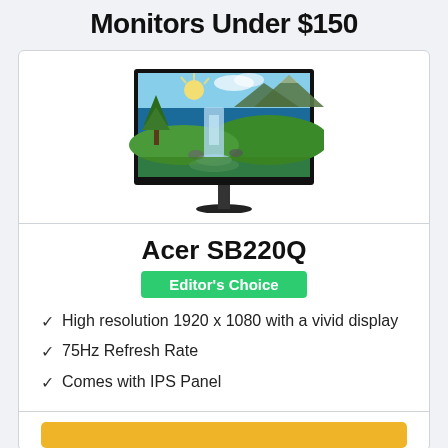Monitors Under $150
[Figure (photo): Acer SB220Q monitor displaying a vivid landscape with mountains, waterfall, and sunburst]
Acer SB220Q
Editor's Choice
High resolution 1920 x 1080 with a vivid display
75Hz Refresh Rate
Comes with IPS Panel